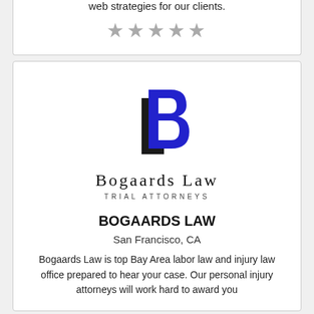web strategies for our clients.
[Figure (other): Five grey star rating icons]
[Figure (logo): Bogaards Law logo — stylized B with L letterform in blue and black, with firm name 'Bogaards Law' and subtitle 'Trial Attorneys']
BOGAARDS LAW
San Francisco, CA
Bogaards Law is top Bay Area labor law and injury law office prepared to hear your case. Our personal injury attorneys will work hard to award you